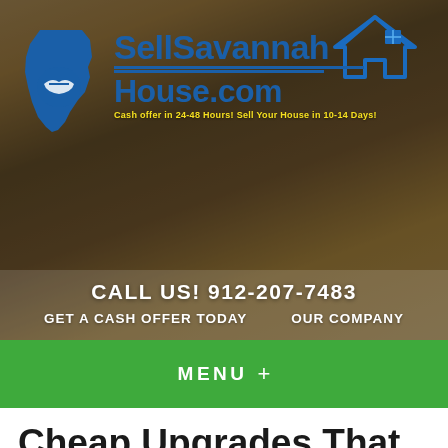[Figure (logo): SellSavannahHouse.com logo with blue Georgia state silhouette with handshake, blue house icon, and blue text reading SellSavannah House.com with tagline 'Cash offer in 24-48 Hours! Sell Your House in 10-14 Days!']
CALL US! 912-207-7483
GET A CASH OFFER TODAY    OUR COMPANY
MENU +
Cheap Upgrades That Make A Big Impact When Selling Your House in